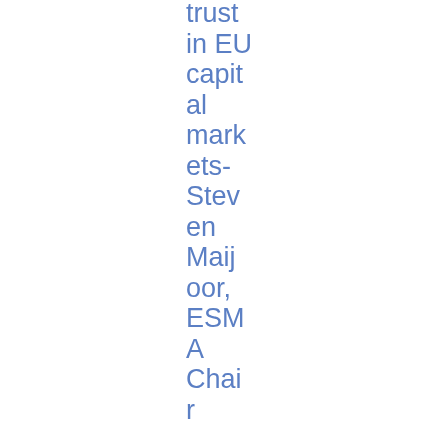trust in EU capital markets- Steven Maijoor, ESMA Chair
| Date | Reference | Title | Type | PDF |
| --- | --- | --- | --- | --- |
| 11/03/2013 | 2013/279 | "Regulation of systemically | Speech | PDF 10 2.94 KB |